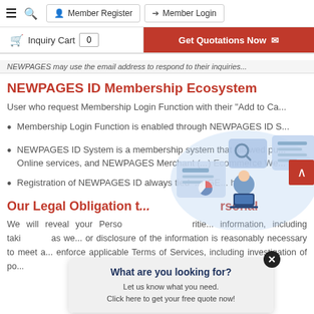Member Register | Member Login | Inquiry Cart 0 | Get Quotations Now
NEWPAGES may use the email address to respond to their inquiries...
NEWPAGES ID Membership Ecosystem
User who request Membership Login Function with their "Add to Ca...
Membership Login Function is enabled through NEWPAGES ID S...
NEWPAGES ID System is a membership system that allowed pu... Online services, and NEWPAGES Merchant (... ) Ecommerce We...
Registration of NEWPAGES ID always tied ... GE... ht...
[Figure (illustration): Illustrated graphic showing people working with digital documents and search interfaces]
Our Legal Obligation t... ...rsonal
We will reveal your Perso... ...ritie... information, including taki... ...as we... or disclosure of the information is reasonably necessary to meet a... enforce applicable Terms of Services, including investigation of po...
[Figure (other): Popup widget: 'What are you looking for? Let us know what you need. Click here to get your free quote now!']